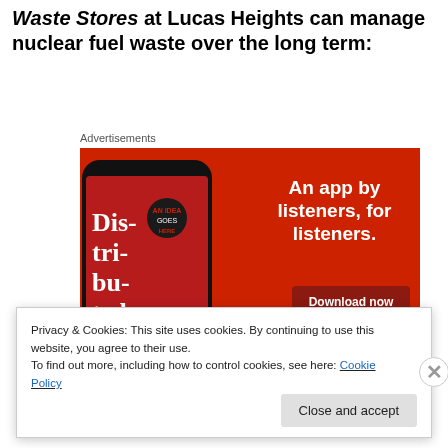...makes changes to unnecessary – claiming Interim Waste Stores at Lucas Heights can manage nuclear fuel waste over the long term:
[Figure (advertisement): Red advertisement banner for a podcast app showing a smartphone with 'Dis-tri-bu-ted' text on screen, with the tagline 'An app by listeners, for listeners.' and a 'Download now' button]
Privacy & Cookies: This site uses cookies. By continuing to use this website, you agree to their use.
To find out more, including how to control cookies, see here: Cookie Policy